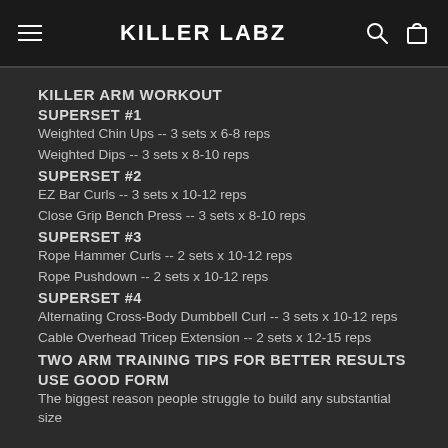KILLER LABZ
KILLER ARM WORKOUT
SUPERSET #1
Weighted Chin Ups -- 3 sets x 6-8 reps
Weighted Dips -- 3 sets x 8-10 reps
SUPERSET #2
EZ Bar Curls -- 3 sets x 10-12 reps
Close Grip Bench Press -- 3 sets x 8-10 reps
SUPERSET #3
Rope Hammer Curls -- 2 sets x 10-12 reps
Rope Pushdown -- 2 sets x 10-12 reps
SUPERSET #4
Alternating Cross-Body Dumbbell Curl -- 3 sets x 10-12 reps
Cable Overhead Tricep Extension -- 2 sets x 12-15 reps
TWO ARM TRAINING TIPS FOR BETTER RESULTS
USE GOOD FORM
The biggest reason people struggle to build any substantial size